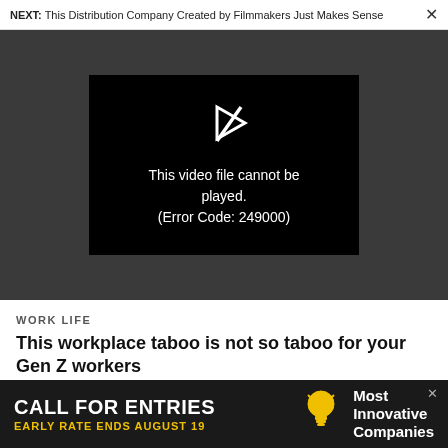NEXT: This Distribution Company Created by Filmmakers Just Makes Sense
[Figure (screenshot): Video player showing error message: 'This video file cannot be played. (Error Code: 249000)' on a black background, within a dark gray video area.]
WORK LIFE
This workplace taboo is not so taboo for your Gen Z workers
Advertise | Privacy Policy | Terms |
[Figure (infographic): Advertisement banner: 'CALL FOR ENTRIES EARLY RATE ENDS AUGUST 19' with a lightbulb icon and text 'Most Innovative Companies' on dark background.]